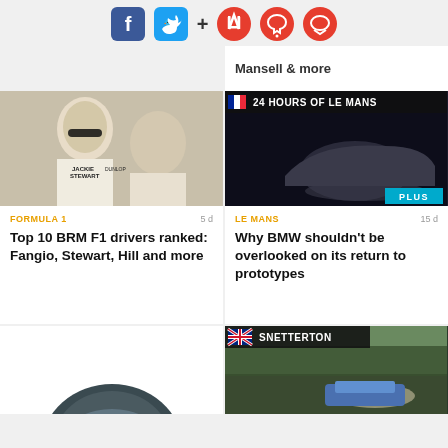[Figure (screenshot): Social media share buttons: Facebook, Twitter, plus sign, and three red circular icons (bookmark, bell, comment)]
Mansell & more
[Figure (photo): Black and white photo of Jackie Stewart and another racing driver, both smiling]
[Figure (photo): BMW racing prototype car at Le Mans at night, with '24 HOURS OF LE MANS' badge and French flag, PLUS badge]
FORMULA 1
5 d
Top 10 BRM F1 drivers ranked: Fangio, Stewart, Hill and more
LE MANS
15 d
Why BMW shouldn't be overlooked on its return to prototypes
[Figure (photo): Partial view of a dark helmet, bottom of card cut off]
[Figure (photo): Racing car on track at Snetterton with British flag badge]